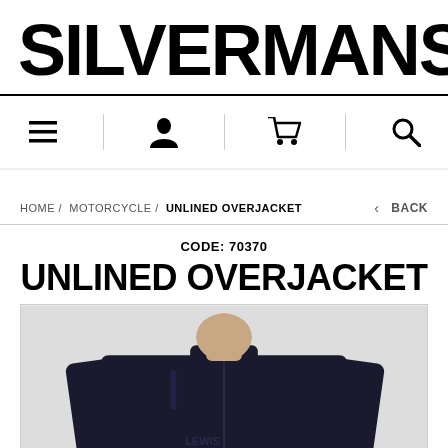SILVERMANS
[Figure (screenshot): Navigation bar with menu (hamburger), account (person icon), cart (shopping cart icon), and search (magnifying glass icon) icons separated by vertical dividers]
HOME / MOTORCYCLE / UNLINED OVERJACKET
< BACK
CODE: 70370
UNLINED OVERJACKET
[Figure (photo): Photo of a man wearing a dark navy/black unlined overjacket, visible from chest up, showing the jacket's zip front and collar]